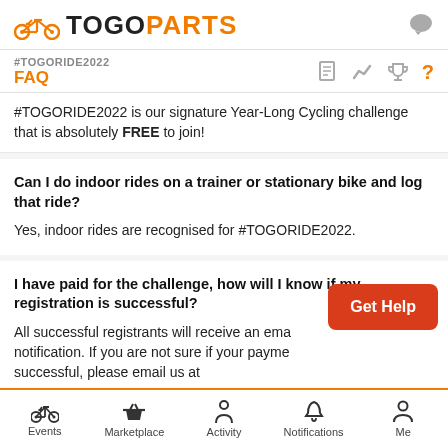TOGOPARTS
#TOGORIDE2022 FAQ
#TOGORIDE2022 is our signature Year-Long Cycling challenge that is absolutely FREE to join!
Can I do indoor rides on a trainer or stationary bike and log that ride?
Yes, indoor rides are recognised for #TOGORIDE2022.
I have paid for the challenge, how will I know if my registration is successful?
All successful registrants will receive an email notification. If you are not sure if your payment is successful, please email us at
Events  Marketplace  Activity  Notifications  Me